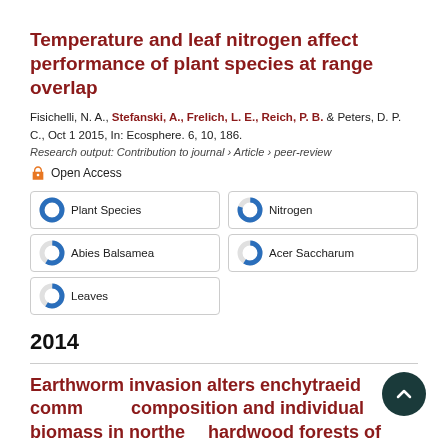Temperature and leaf nitrogen affect performance of plant species at range overlap
Fisichelli, N. A., Stefanski, A., Frelich, L. E., Reich, P. B. & Peters, D. P. C., Oct 1 2015, In: Ecosphere. 6, 10, 186.
Research output: Contribution to journal › Article › peer-review
Open Access
Plant Species
Nitrogen
Abies Balsamea
Acer Saccharum
Leaves
2014
Earthworm invasion alters enchytraeid community composition and individual biomass in northern hardwood forests of North America